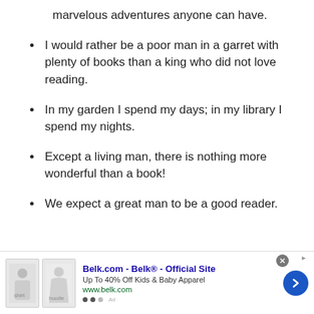marvelous adventures anyone can have.
I would rather be a poor man in a garret with plenty of books than a king who did not love reading.
In my garden I spend my days; in my library I spend my nights.
Except a living man, there is nothing more wonderful than a book!
We expect a great man to be a good reader.
[Figure (other): Advertisement banner for Belk.com showing children's clothing with text 'Belk.com - Belk® - Official Site', 'Up To 40% Off Kids & Baby Apparel', 'www.belk.com']